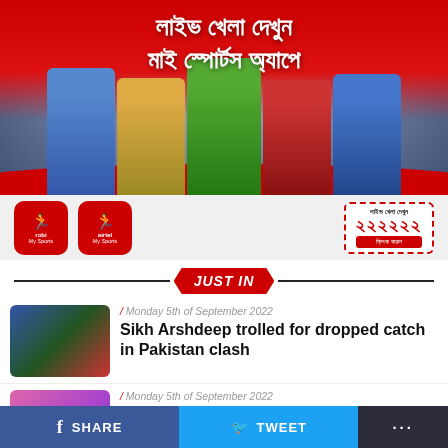[Figure (photo): Advertisement banner for MySports app (Robi/Airtel) showing five cricket players in colorful jerseys against a stadium background with Bengali text 'লাইভ খেলা দেখুন মাই স্পোর্টস অ্যাপে' and app icons with promotional badge showing '২২২২২২']
JUST IN
/ Monday 5th of September 2022
Sikh Arshdeep trolled for dropped catch in Pakistan clash
/ Monday 5th of September 2022
Shakib buys a hockey team
SHARE   TWEET   ...